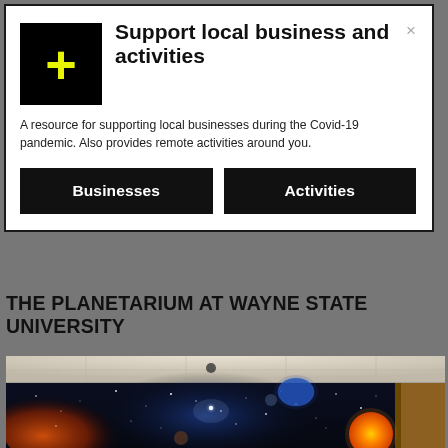[Figure (logo): Black square with yellow plus sign logo]
Support local business and activities
A resource for supporting local businesses during the Covid-19 pandemic. Also provides remote activities around you.
Businesses
Activities
THE PLANETARIUM AT WAYNE STATE UNIVERSITY
[Figure (photo): Interior photo of a room with a space-themed mural on the wall, depicting nebulae, planets, and stars against a dark blue background, with a white tiled ceiling above.]